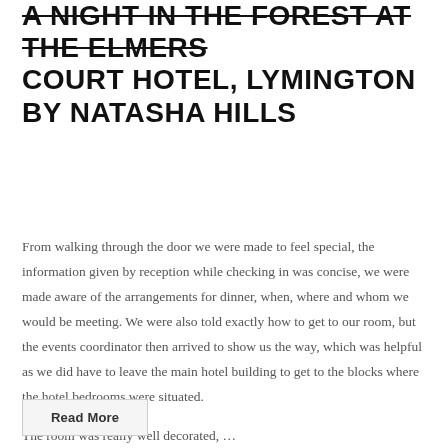A NIGHT IN THE FOREST AT THE ELMERS COURT HOTEL, LYMINGTON BY NATASHA HILLS
From walking through the door we were made to feel special, the information given by reception while checking in was concise, we were made aware of the arrangements for dinner, when, where and whom we would be meeting. We were also told exactly how to get to our room, but the events coordinator then arrived to show us the way, which was helpful as we did have to leave the main hotel building to get to the blocks where the hotel bedrooms were situated.
The room was really well decorated, …